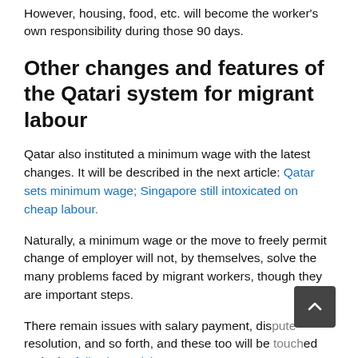However, housing, food, etc. will become the worker's own responsibility during those 90 days.
Other changes and features of the Qatari system for migrant labour
Qatar also instituted a minimum wage with the latest changes. It will be described in the next article: Qatar sets minimum wage; Singapore still intoxicated on cheap labour.
Naturally, a minimum wage or the move to freely permit change of employer will not, by themselves, solve the many problems faced by migrant workers, though they are important steps.
There remain issues with salary payment, dispute resolution, and so forth, and these too will be touched on in the following article.